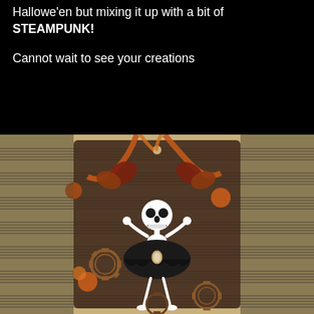Hallowe'en but mixing it up with a bit of STEAMPUNK!
Cannot wait to see your creations
[Figure (photo): A handmade craft tag with steampunk and Halloween theme. The tag features a skeleton dancer figure wearing a black tutu dress, placed on a background of sheet music paper. Orange and brown ribbons are tied at the top. Decorative elements include gears, orange flowers, and vintage-style embellishments. The overall color palette is brown, orange, black, and white.]